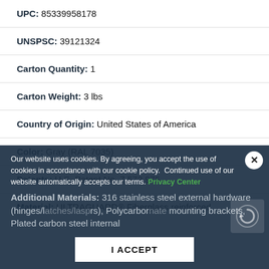UPC: 85339958178
UNSPSC: 39121324
Carton Quantity: 1
Carton Weight: 3 lbs
Country of Origin: United States of America
Color: Gray (RAL 7035)
Patents: U.S. Patent No. 7,572,975
Material: ULTRAGUARD® Fiberglass reinforced
Our website uses cookies. By agreeing, you accept the use of cookies in accordance with our cookie policy. Continued use of our website automatically accepts our terms. Privacy Center
Additional Materials: 316 stainless steel external hardware (hinges/latches/hasps), Polycarbonate mounting brackets, Plated carbon steel internal